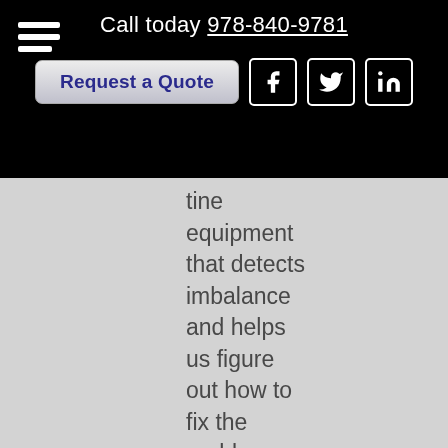Call today 978-840-9781
tine equipment that detects imbalance and helps us figure out how to fix the problem.

With routine check-ups on all your equipment, we can detect